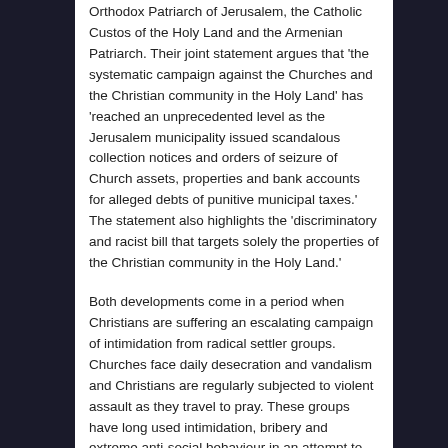Orthodox Patriarch of Jerusalem, the Catholic Custos of the Holy Land and the Armenian Patriarch. Their joint statement argues that 'the systematic campaign against the Churches and the Christian community in the Holy Land' has 'reached an unprecedented level as the Jerusalem municipality issued scandalous collection notices and orders of seizure of Church assets, properties and bank accounts for alleged debts of punitive municipal taxes.'  The statement also highlights the 'discriminatory and racist bill that targets solely the properties of the Christian community in the Holy Land.'
Both developments come in a period when Christians are suffering an escalating campaign of intimidation from radical settler groups. Churches face daily desecration and vandalism and Christians are regularly subjected to violent assault as they travel to pray. These groups have long used intimidation, bribery and extreme anti-social behaviour in an attempt to force Christians and other non-Jews out of the Holy City. While their actions clearly contravene Israeli law their crimes go largely unchecked.